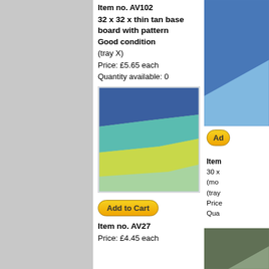Item no. AV102
32 x 32 x thin tan base board with pattern
Good condition
(tray X)
Price: £5.65 each
Quantity available: 0
[Figure (photo): LEGO 32x32 base board with diagonal wave pattern in dark blue, light blue/teal, yellow-green, and light green colors]
Add to Cart
Item no. AV27
Price: £4.45 each